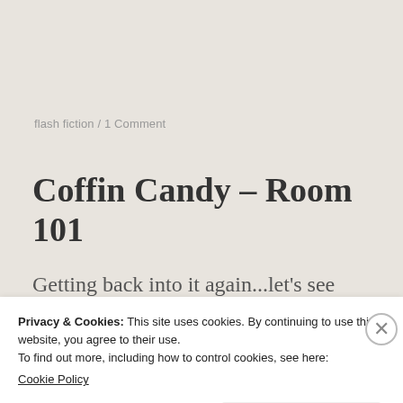flash fiction / 1 Comment
Coffin Candy – Room 101
Getting back into it again...let's see how this goes shall we...
Privacy & Cookies: This site uses cookies. By continuing to use this website, you agree to their use.
To find out more, including how to control cookies, see here:
Cookie Policy
Close and accept